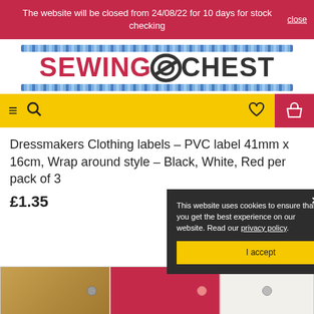The website will be closed from 24/08/22 for 10 days for stock checking
[Figure (logo): Sewing Chest logo with decorative lace border above and below, pink and black text]
[Figure (screenshot): Yellow navigation bar with hamburger menu, search icon, heart icon, and red basket button]
Dressmakers Clothing labels – PVC label 41mm x 16cm, Wrap around style – Black, White, Red per pack of 3
£1.35
This website uses cookies to ensure that you get the best experience on our website. Read our privacy policy. I accept